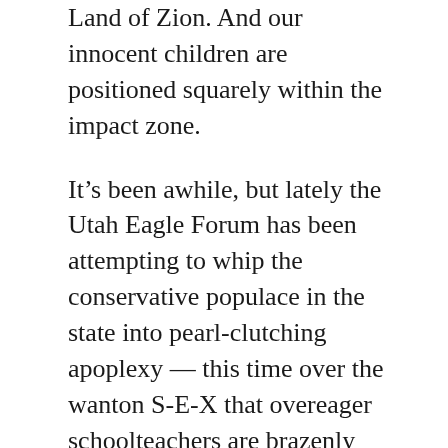Land of Zion. And our innocent children are positioned squarely within the impact zone.
It’s been awhile, but lately the Utah Eagle Forum has been attempting to whip the conservative populace in the state into pearl-clutching apoplexy — this time over the wanton S-E-X that overeager schoolteachers are brazenly trying to indoctrinate our children with. (Because, really, what educator didn’t get into the profession to be able to have awkward conversations about sex with teenagers who aren’t their own?)
So then, what’s put the bee in the bonnet of Utah’s favorite morality watchdog group this time? What’s left Utah Eagle Forum president Gayle Ruzicka with the vapors again? It’s a state-produced teacher resource guide subtitled “Answering Commonly